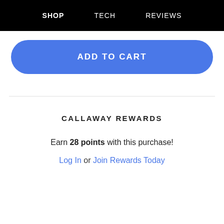SHOP   TECH   REVIEWS
ADD TO CART
CALLAWAY REWARDS
Earn 28 points with this purchase!
Log In or Join Rewards Today